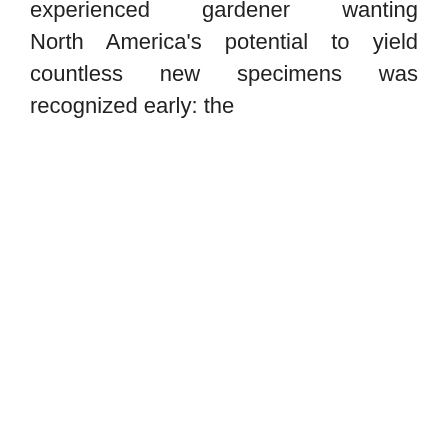experienced gardener wanting inspiration, our professional guides will enable you to get started. Gardening is done on a smaller scale, primarily for pleasure and to provide goods for the gardener's family or community. Among the many challenges bravely taken up in the 17th century in northern Europe was the rising of orange and lemon timber, although this was performed more for the pleasure of their evergreen qualities than for their fruit. Step one is to clear any weeds and outdated vegetation from the area the place you plan to do your planting.
North America's potential to yield countless new specimens was recognized early: the